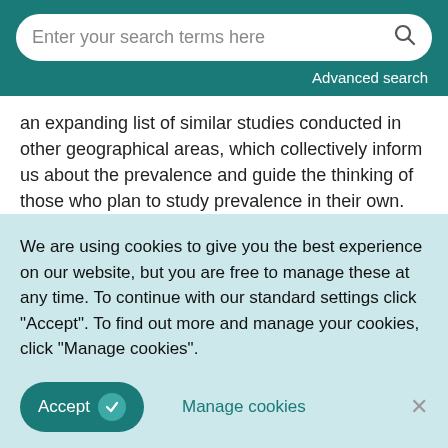[Figure (screenshot): Website search bar with placeholder text 'Enter your search terms here' and a search icon, on a teal background with 'Advanced search' link]
an expanding list of similar studies conducted in other geographical areas, which collectively inform us about the prevalence and guide the thinking of those who plan to study prevalence in their own.
We are using cookies to give you the best experience on our website, but you are free to manage these at any time. To continue with our standard settings click "Accept". To find out more and manage your cookies, click "Manage cookies".
Accept   Manage cookies   ×
This is useful to us for its illustration of method, and also for the recommendations the authors